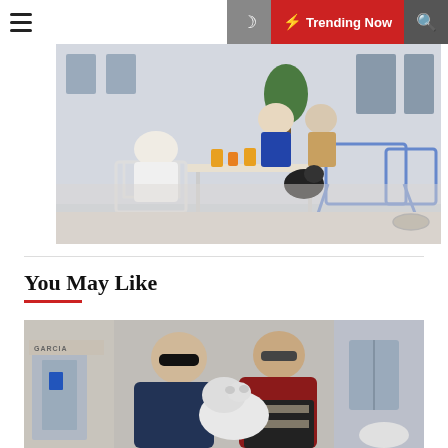≡  ☽  ⚡ Trending Now  🔍
[Figure (photo): Students sitting outdoors at a patio table with drinks, lawn chairs, and a dog]
You May Like
[Figure (photo): Two people holding a small white dog outside a building marked GARCIA]